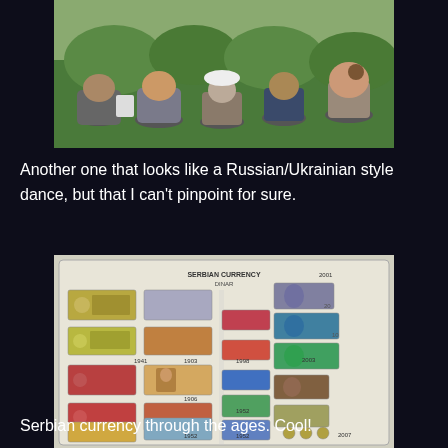[Figure (photo): Crowd of people viewed from behind at an outdoor event, people wearing summer clothing, trees and greenery in background]
Another one that looks like a Russian/Ukrainian style dance, but that I can't pinpoint for sure.
[Figure (photo): Display board showing Serbian currency (Dinar) through the ages, featuring various banknotes from different periods including years 1941, 1942, 1903, 1906, 1952, 2001, 2003]
Serbian currency through the ages. Cool!